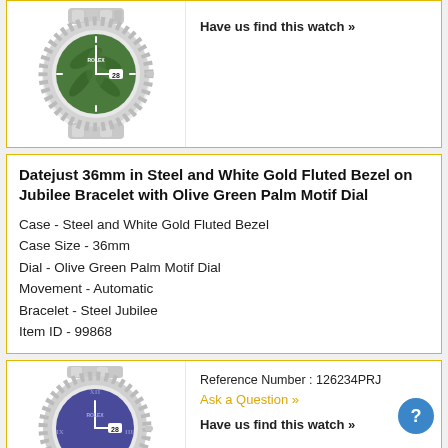[Figure (photo): Rolex Datejust 36mm watch with olive green palm motif dial on jubilee bracelet, shown at an angle. White/silver case with fluted bezel.]
Have us find this watch »
Datejust 36mm in Steel and White Gold Fluted Bezel on Jubilee Bracelet with Olive Green Palm Motif Dial
Case - Steel and White Gold Fluted Bezel
Case Size - 36mm
Dial - Olive Green Palm Motif Dial
Movement - Automatic
Bracelet - Steel Jubilee
Item ID - 99868
Reference Number : 126234PRJ
Ask a Question »
Have us find this watch »
[Figure (photo): Rolex Datejust 36mm watch with purple/blue dial and Roman numerals on jubilee bracelet, partially visible. White gold fluted bezel.]